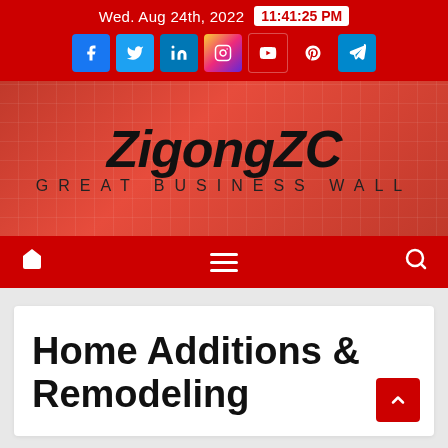Wed. Aug 24th, 2022  11:41:25 PM
[Figure (logo): ZigongZC Great Business Wall logo on red background with grid pattern]
[Figure (infographic): Navigation bar with home icon, hamburger menu, and search icon on red background]
Home Additions & Remodeling